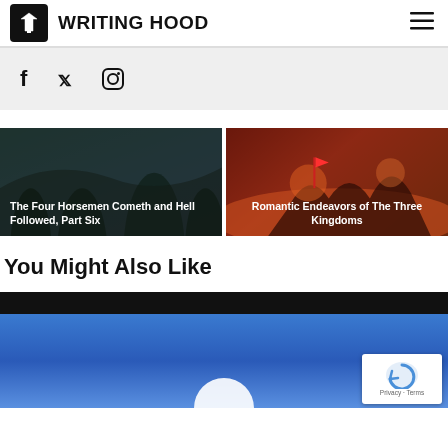WRITING HOOD
[Figure (screenshot): Social media icons: Facebook, Twitter, Instagram]
[Figure (photo): Article card: The Four Horsemen Cometh and Hell Followed, Part Six — dark forest scene]
[Figure (photo): Article card: Romantic Endeavors of The Three Kingdoms — battle scene]
You Might Also Like
[Figure (screenshot): Preview image with black top bar and blue gradient, partially visible app screenshot]